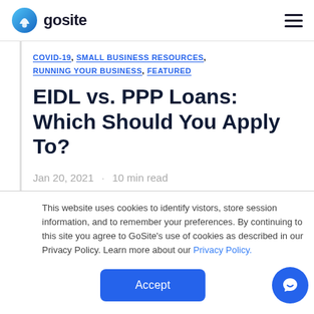gosite
COVID-19, SMALL BUSINESS RESOURCES, RUNNING YOUR BUSINESS, FEATURED
EIDL vs. PPP Loans: Which Should You Apply To?
Jan 20, 2021  ·  10 min read
This website uses cookies to identify vistors, store session information, and to remember your preferences. By continuing to this site you agree to GoSite's use of cookies as described in our Privacy Policy. Learn more about our Privacy Policy.